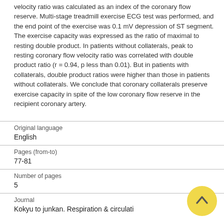velocity ratio was calculated as an index of the coronary flow reserve. Multi-stage treadmill exercise ECG test was performed, and the end point of the exercise was 0.1 mV depression of ST segment. The exercise capacity was expressed as the ratio of maximal to resting double product. In patients without collaterals, peak to resting coronary flow velocity ratio was correlated with double product ratio (r = 0.94, p less than 0.01). But in patients with collaterals, double product ratios were higher than those in patients without collaterals. We conclude that coronary collaterals preserve exercise capacity in spite of the low coronary flow reserve in the recipient coronary artery.
| Original language | English |
| Pages (from-to) | 77-81 |
| Number of pages | 5 |
| Journal | Kokyu to junkan. Respiration & circulati |